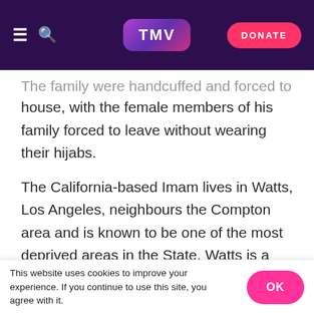TMV | DONATE
The family were handcuffed and forced to leave the house, with the female members of his family forced to leave without wearing their hijabs.
The California-based Imam lives in Watts, Los Angeles, neighbours the Compton area and is known to be one of the most deprived areas in the State. Watts is a predominantly African-American community.
[Figure (logo): Qibla Watch logo with white kaaba icon and text QIBLAWATCH on a dark green/teal background]
This website uses cookies to improve your experience. If you continue to use this site, you agree with it.